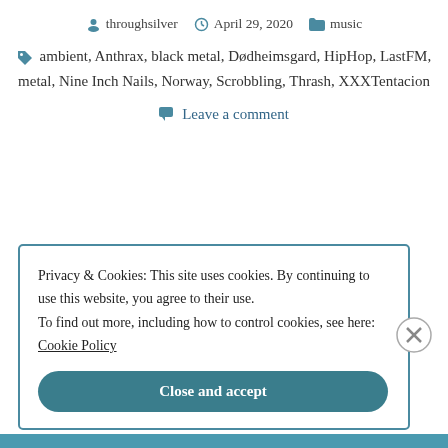throughsilver  April 29, 2020  music
ambient, Anthrax, black metal, Dødheimsgard, HipHop, LastFM, metal, Nine Inch Nails, Norway, Scrobbling, Thrash, XXXTentacion
Leave a comment
Privacy & Cookies: This site uses cookies. By continuing to use this website, you agree to their use. To find out more, including how to control cookies, see here: Cookie Policy
Close and accept